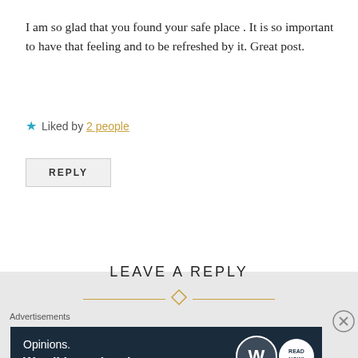I am so glad that you found your safe place . It is so important to have that feeling and to be refreshed by it. Great post.
★ Liked by 2 people
REPLY
LEAVE A REPLY
Your email address will not be published. Required fields are marked *
Advertisements
[Figure (infographic): WordPress advertisement banner: 'Opinions. We all have them!' with WordPress and another logo on dark navy background]